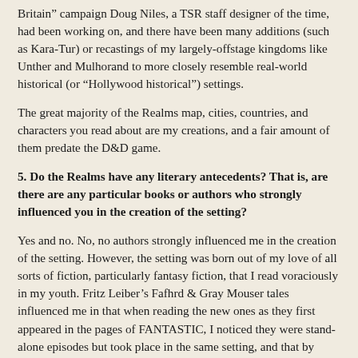Britain” campaign Doug Niles, a TSR staff designer of the time, had been working on, and there have been many additions (such as Kara-Tur) or recastings of my largely-offstage kingdoms like Unther and Mulhorand to more closely resemble real-world historical (or “Hollywood historical”) settings.
The great majority of the Realms map, cities, countries, and characters you read about are my creations, and a fair amount of them predate the D&D game.
5. Do the Realms have any literary antecedents? That is, are there are any particular books or authors who strongly influenced you in the creation of the setting?
Yes and no. No, no authors strongly influenced me in the creation of the setting. However, the setting was born out of my love of all sorts of fiction, particularly fantasy fiction, that I read voraciously in my youth. Fritz Leiber’s Fafhrd & Gray Mouser tales influenced me in that when reading the new ones as they first appeared in the pages of FANTASTIC, I noticed they were stand-alone episodes but took place in the same setting, and that by reading a bunch of them, one learned more and more about the setting without the